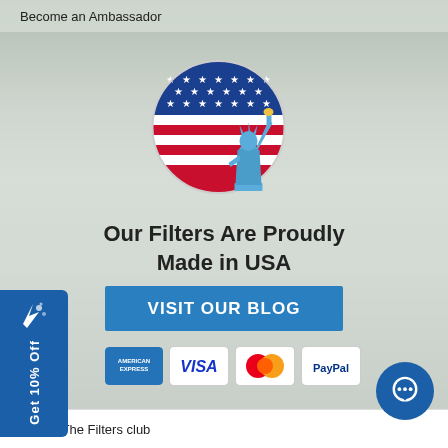Become an Ambassador
[Figure (logo): Circular American flag logo with Statue of Liberty silhouette in blue]
Our Filters Are Proudly Made in USA
VISIT OUR BLOG
[Figure (infographic): Payment method icons: American Express, Visa, Mastercard, PayPal]
Get 10% Off
© 2021 The Filters club